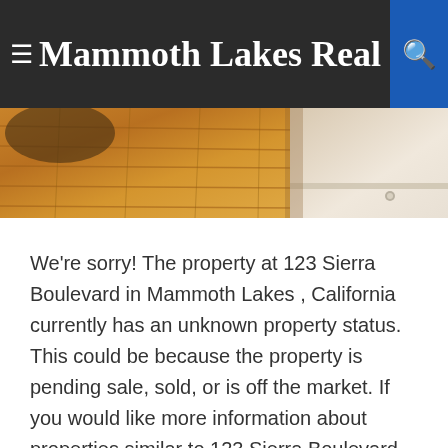≡ Mammoth Lakes Real Estate
[Figure (photo): Interior photo of a wooden ceiling with warm lighting]
We're sorry! The property at 123 Sierra Boulevard in Mammoth Lakes , California currently has an unknown property status. This could be because the property is pending sale, sold, or is off the market. If you would like more information about properties similar to 123 Sierra Boulevard in Mammoth Lakes, California, please contact Mammoth Lakes Real Estate. You can also